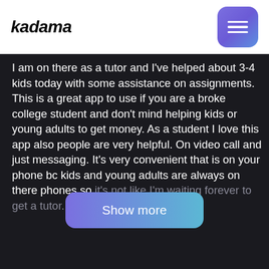kadama
I am on there as a tutor and I've helped about 3-4 kids today with some assistance on assignments. This is a great app to use if you are a broke college student and don't mind helping kids or young adults to get money. As a student I love this app also people are very helpful. On video call and just messaging. It's very convenient that is on your phone bc kids and young adults are always on there phones so it's not like I'm waiting forever to get a tutor.
Show more